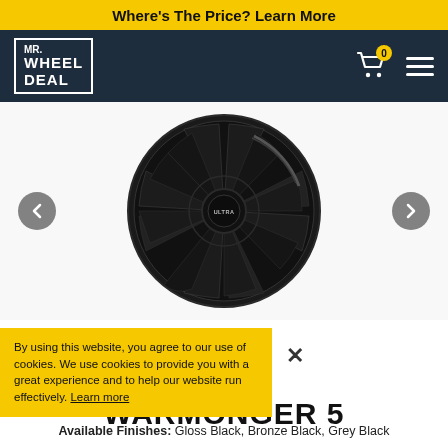Where's The Price? Learn More
[Figure (logo): Mr. Wheel Deal logo in white text on dark navy background, with cart icon showing 0 badge and hamburger menu]
[Figure (photo): A gloss black multi-spoke alloy wheel (Warmonger 5 by Ultra) shown on white background with left and right navigation arrows]
By using this website, you agree to our use of cookies. We use cookies to provide you with a great experience and to help our website run effectively. Learn more
WARMONGER 5
Available Finishes: Gloss Black, Bronze Black, Grey Black